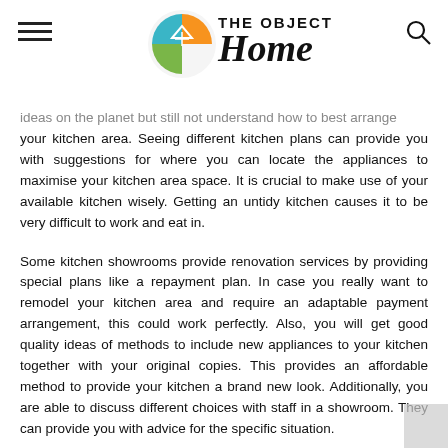THE OBJECT Home
ideas on the planet but still not understand how to best arrange your kitchen area. Seeing different kitchen plans can provide you with suggestions for where you can locate the appliances to maximise your kitchen area space. It is crucial to make use of your available kitchen wisely. Getting an untidy kitchen causes it to be very difficult to work and eat in.
Some kitchen showrooms provide renovation services by providing special plans like a repayment plan. In case you really want to remodel your kitchen area and require an adaptable payment arrangement, this could work perfectly. Also, you will get good quality ideas of methods to include new appliances to your kitchen together with your original copies. This provides an affordable method to provide your kitchen a brand new look. Additionally, you are able to discuss different choices with staff in a showroom. They can provide you with advice for the specific situation.